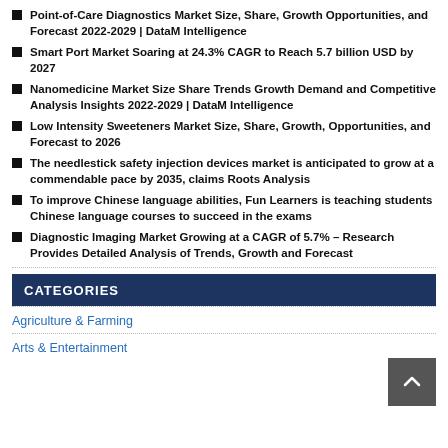Point-of-Care Diagnostics Market Size, Share, Growth Opportunities, and Forecast 2022-2029 | DataM Intelligence
Smart Port Market Soaring at 24.3% CAGR to Reach 5.7 billion USD by 2027
Nanomedicine Market Size Share Trends Growth Demand and Competitive Analysis Insights 2022-2029 | DataM Intelligence
Low Intensity Sweeteners Market Size, Share, Growth, Opportunities, and Forecast to 2026
The needlestick safety injection devices market is anticipated to grow at a commendable pace by 2035, claims Roots Analysis
To improve Chinese language abilities, Fun Learners is teaching students Chinese language courses to succeed in the exams
Diagnostic Imaging Market Growing at a CAGR of 5.7% – Research Provides Detailed Analysis of Trends, Growth and Forecast
CATEGORIES
Agriculture & Farming
Arts & Entertainment